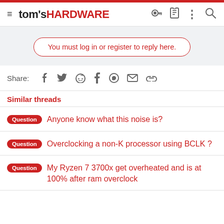tom's HARDWARE
You must log in or register to reply here.
Share:
Similar threads
Question  Anyone know what this noise is?
Question  Overclocking a non-K processor using BCLK ?
Question  My Ryzen 7 3700x get overheated and is at 100% after ram overclock